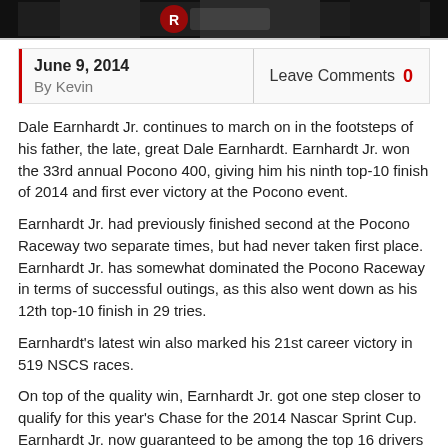[Figure (photo): Dark photo strip at top of page showing a person in a racing suit]
June 9, 2014
By Kevin
Leave Comments 0
Dale Earnhardt Jr. continues to march on in the footsteps of his father, the late, great Dale Earnhardt. Earnhardt Jr. won the 33rd annual Pocono 400, giving him his ninth top-10 finish of 2014 and first ever victory at the Pocono event.
Earnhardt Jr. had previously finished second at the Pocono Raceway two separate times, but had never taken first place. Earnhardt Jr. has somewhat dominated the Pocono Raceway in terms of successful outings, as this also went down as his 12th top-10 finish in 29 tries.
Earnhardt's latest win also marked his 21st career victory in 519 NSCS races.
On top of the quality win, Earnhardt Jr. got one step closer to qualify for this year's Chase for the 2014 Nascar Sprint Cup. Earnhardt Jr. now guaranteed to be among the top 16 drivers after race number 26. Any spot inside the top-30 in driver points beyond race 26 will land him a spot in the Chase.